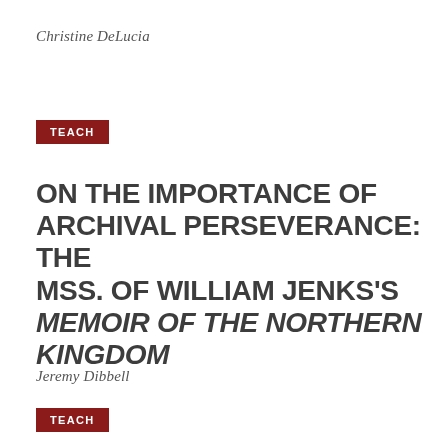Christine DeLucia
TEACH
ON THE IMPORTANCE OF ARCHIVAL PERSEVERANCE: THE MSS. OF WILLIAM JENKS'S MEMOIR OF THE NORTHERN KINGDOM
Jeremy Dibbell
TEACH